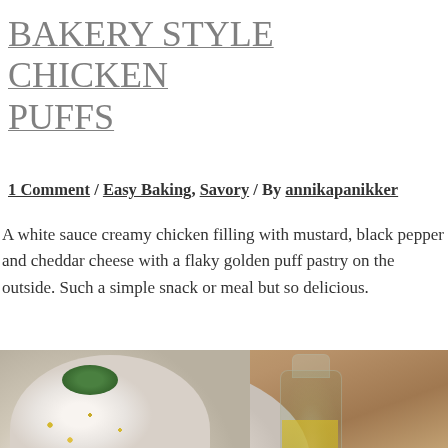BAKERY STYLE CHICKEN PUFFS
1 Comment / Easy Baking, Savory / By annikapanikker
A white sauce creamy chicken filling with mustard, black pepper and cheddar cheese with a flaky golden puff pastry on the outside. Such a simple snack or meal but so delicious.
[Figure (photo): Food photograph showing a white bowl with cream/white sauce garnished with herbs and yellow spices, on a white ribbed plate. A glass bottle of olive oil in the center-right. A yellow-colored bowl at the bottom. Wooden table background.]